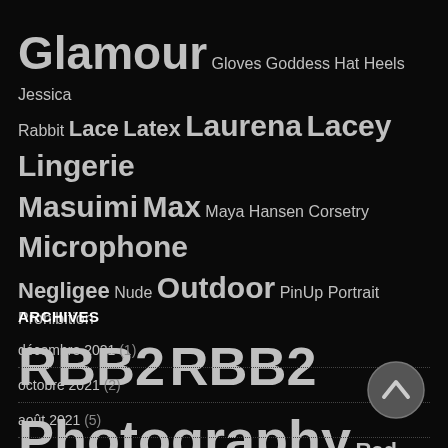[Figure (infographic): Tag cloud with words of varying sizes on black background: Glamour (very large), Gloves, Goddess, Hat, Heels, Jessica Rabbit, Lace, Latex, Laurena, Lacey, Lingerie (large), Masuimi Max (large), Maya Hansen Corsetry, Microphone (large), Negligee, Nude, Outdoor (large), PinUp, Portrait, Prohibition, RBB2 (very large x2), Photography (very large), Red Lingerie, Retro, Singer, Stockings, Tera Patrick (largest), Topless (very large), Vintage, Wig, Zoi, Zoi Gorman]
ARCHIVES
décembre 2021 (1)
octobre 2021 (2)
août 2021 (5)
avril 2021 (1)
avril 2020 (1)
février 2020 (2)